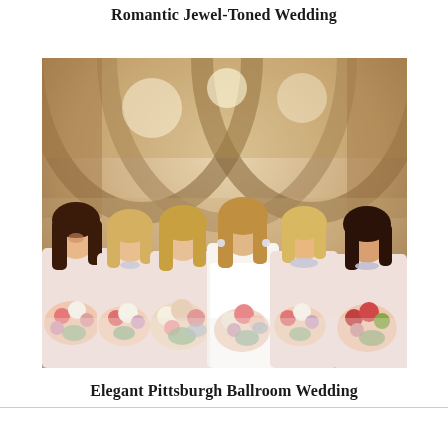Romantic Jewel-Toned Wedding
[Figure (photo): A bride in white with five bridesmaids in blush/white dresses, all holding colorful floral bouquets with roses and dahlias, standing under arched stone ceiling of an elegant venue.]
Elegant Pittsburgh Ballroom Wedding